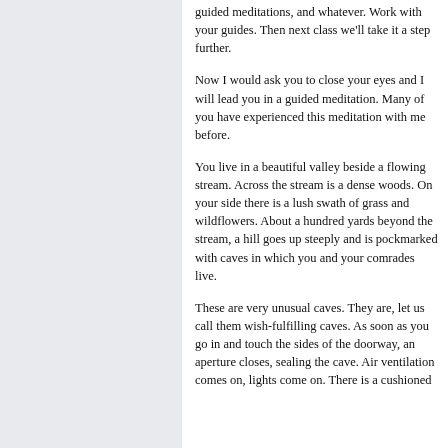guided meditations, and whatever. Work with your guides. Then next class we'll take it a step further.
Now I would ask you to close your eyes and I will lead you in a guided meditation. Many of you have experienced this meditation with me before.
You live in a beautiful valley beside a flowing stream. Across the stream is a dense woods. On your side there is a lush swath of grass and wildflowers. About a hundred yards beyond the stream, a hill goes up steeply and is pockmarked with caves in which you and your comrades live.
These are very unusual caves. They are, let us call them wish-fulfilling caves. As soon as you go in and touch the sides of the doorway, an aperture closes, sealing the cave. Air ventilation comes on, lights come on. There is a cushioned